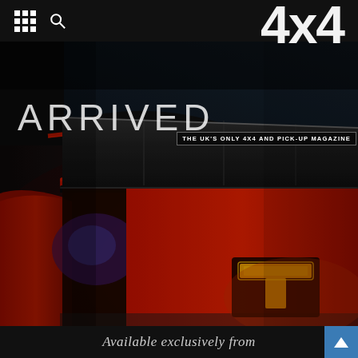4x4 — THE UK'S ONLY 4X4 AND PICK-UP MAGAZINE
[Figure (photo): Close-up of a red pickup truck bed with a black roll-top tonneau cover, showing the rear taillight with yellow LED T-shaped design, dark background, dramatic studio lighting]
ARRIVED
THE UK'S ONLY 4X4 AND PICK-UP MAGAZINE
Available exclusively from